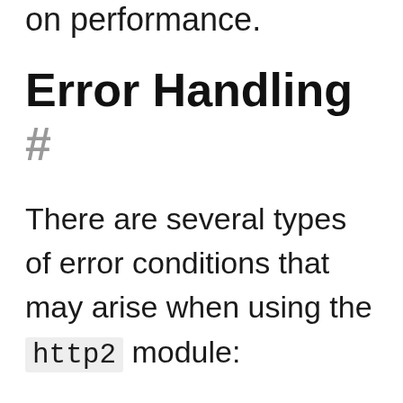on performance.
Error Handling #
There are several types of error conditions that may arise when using the http2 module:
Validation Errors occur